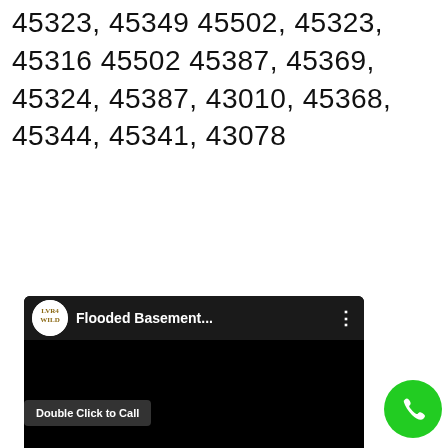45323, 45349 45502, 45323, 45316 45502 45387, 45369, 45324, 45387, 43010, 45368, 45344, 45341, 43078
[Figure (screenshot): Embedded video player screenshot showing a YouTube-style video with channel logo, title 'Flooded Basement...', three-dot menu icon, black video area, 'Double Click to Call' button overlay, and a green phone call button.]